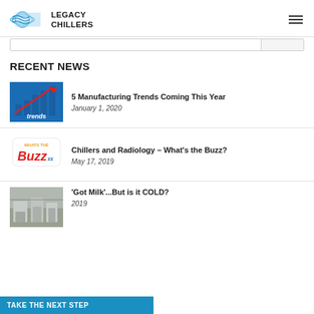[Figure (logo): Legacy Chillers logo with swoosh graphic and bold text]
RECENT NEWS
[Figure (illustration): Trends image with bar chart and upward red arrow, blue background with 'trends' text]
5 Manufacturing Trends Coming This Year
January 1, 2020
[Figure (illustration): What's the Buzz logo with colorful speech bubble]
Chillers and Radiology – What's the Buzz?
May 17, 2019
[Figure (photo): Industrial dairy/milk chilling facility photo]
'Got Milk'...But is it COLD?
2019
TAKE THE NEXT STEP